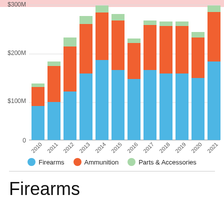[Figure (stacked-bar-chart): ]
Firearms Ammunition Parts & Accessories
Firearms